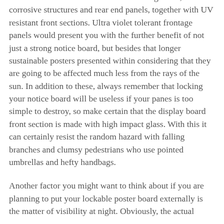features which includes weather resilient gaskets, non-corrosive structures and rear end panels, together with UV resistant front sections. Ultra violet tolerant frontage panels would present you with the further benefit of not just a strong notice board, but besides that longer sustainable posters presented within considering that they are going to be affected much less from the rays of the sun. In addition to these, always remember that locking your notice board will be useless if your panes is too simple to destroy, so make certain that the display board front section is made with high impact glass. With this it can certainly resist the random hazard with falling branches and clumsy pedestrians who use pointed umbrellas and hefty handbags.
Another factor you might want to think about if you are planning to put your lockable poster board externally is the matter of visibility at night. Obviously, the actual